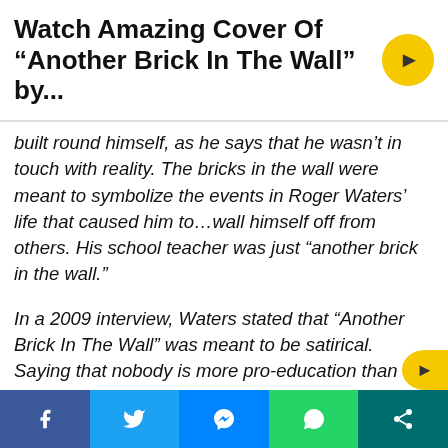Watch Amazing Cover Of “Another Brick In The Wall” by...
built round himself, as he says that he wasn’t in touch with reality. The bricks in the wall were meant to symbolize the events in Roger Waters’ life that caused him to…wall himself off from others. His school teacher was just “another brick in the wall.”
In a 2009 interview, Waters stated that “Another Brick In The Wall” was meant to be satirical. Saying that nobody is more pro-education than he’s, Roger Waters explains that the “boys school…was very controlling and demanded rebellion.” Plus, the teachers were “easy targets.”